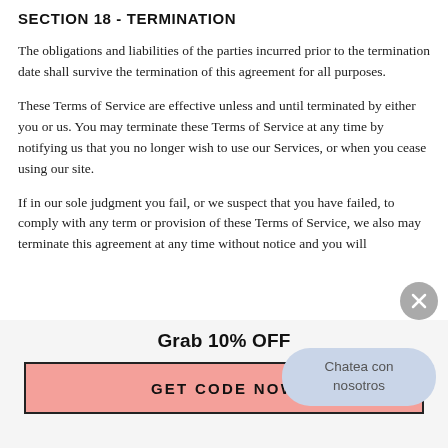SECTION 18 - TERMINATION
The obligations and liabilities of the parties incurred prior to the termination date shall survive the termination of this agreement for all purposes.
These Terms of Service are effective unless and until terminated by either you or us. You may terminate these Terms of Service at any time by notifying us that you no longer wish to use our Services, or when you cease using our site.
If in our sole judgment you fail, or we suspect that you have failed, to comply with any term or provision of these Terms of Service, we also may terminate this agreement at any time without notice and you will
Grab 10% OFF
GET CODE NOW
Chatea con nosotros